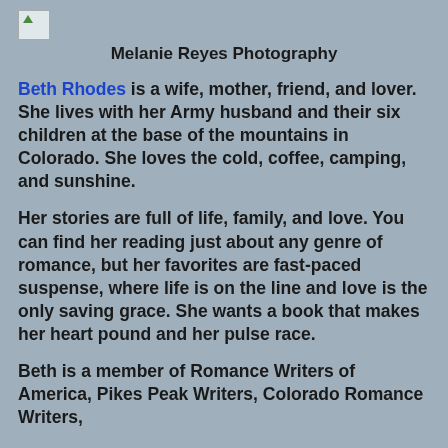[Figure (photo): Small broken image placeholder icon in top left corner]
Melanie Reyes Photography
Beth Rhodes is a wife, mother, friend, and lover. She lives with her Army husband and their six children at the base of the mountains in Colorado. She loves the cold, coffee, camping, and sunshine.
Her stories are full of life, family, and love. You can find her reading just about any genre of romance, but her favorites are fast-paced suspense, where life is on the line and love is the only saving grace. She wants a book that makes her heart pound and her pulse race.
Beth is a member of Romance Writers of America, Pikes Peak Writers, Colorado Romance Writers,